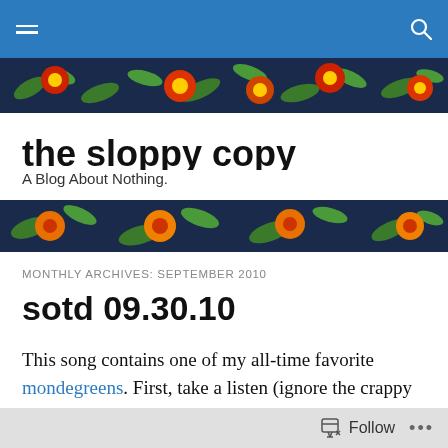the sloppy copy — navigation bar
[Figure (illustration): Floral banner with red and orange flowers on dark navy background (top)]
the sloppy copy
A Blog About Nothing.
[Figure (illustration): Floral banner with orange flowers on dark navy background (bottom)]
MONTHLY ARCHIVES: SEPTEMBER 2010
sotd 09.30.10
This song contains one of my all-time favorite mondegreens. First, take a listen (ignore the crappy video):
[Figure (screenshot): Video player placeholder (black rectangle)]
Follow